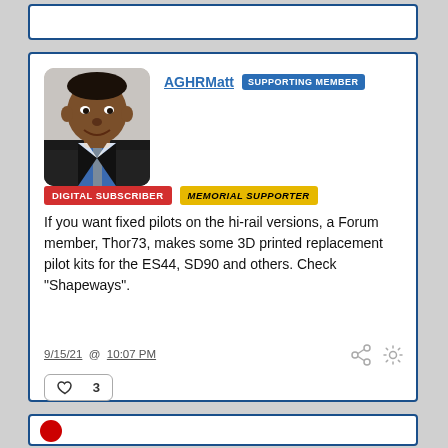[Figure (photo): Profile photo of AGHRMatt, a man in a dark jacket and blue shirt]
AGHRMatt  SUPPORTING MEMBER
DIGITAL SUBSCRIBER  MEMORIAL SUPPORTER
If you want fixed pilots on the hi-rail versions, a Forum member, Thor73, makes some 3D printed replacement pilot kits for the ES44, SD90 and others. Check "Shapeways".
9/15/21 @ 10:07 PM
♥  3